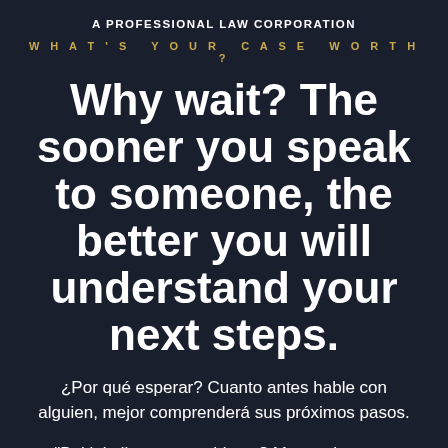A PROFESSIONAL LAW CORPORATION
WHAT'S YOUR CASE WORTH?
Why wait? The sooner you speak to someone, the better you will understand your next steps.
¿Por qué esperar? Cuanto antes hable con alguien, mejor comprenderá sus próximos pasos.
"Bakit kailangan maghintay? Mas mainam na komunsulta ng maaga para malaman ang mga